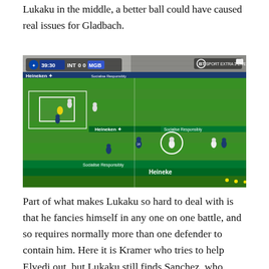Lukaku in the middle, a better ball could have caused real issues for Gladbach.
[Figure (screenshot): Football match screenshot showing Inter Milan vs MGB (Mönchengladbach) at 39:30, score 0-0. BT Sport Extra 3 Live broadcast. Green pitch with players visible, Heineken and Socialise Responsibly advertising hoardings around the pitch. A player circled in the center of the pitch.]
Part of what makes Lukaku so hard to deal with is that he fancies himself in any one on one battle, and so requires normally more than one defender to contain him. Here it is Kramer who tries to help Elvedi out, but Lukaku still finds Sanchez, who gives the ball back...